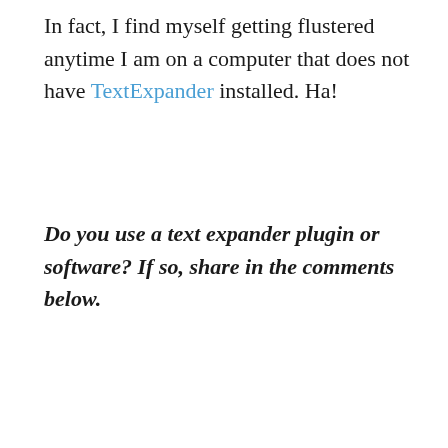In fact, I find myself getting flustered anytime I am on a computer that does not have TextExpander installed. Ha!
Do you use a text expander plugin or software? If so, share in the comments below.
… PREVIOUS POST
… NEXT POST
[Figure (photo): Headshot of a smiling man with dark hair, photographed outdoors with autumn foliage in the background]